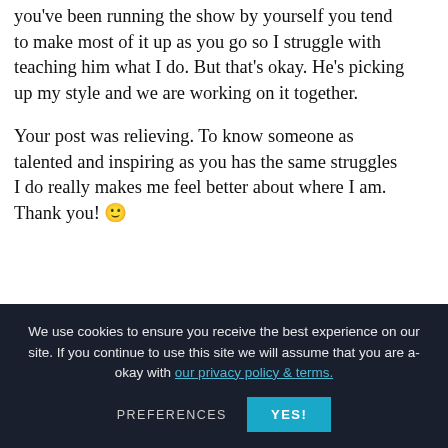you've been running the show by yourself you tend to make most of it up as you go so I struggle with teaching him what I do. But that's okay. He's picking up my style and we are working on it together.
Your post was relieving. To know someone as talented and inspiring as you has the same struggles I do really makes me feel better about where I am. Thank you! 🙂
We use cookies to ensure you receive the best experience on our site. If you continue to use this site we will assume that you are a-okay with our privacy policy & terms.